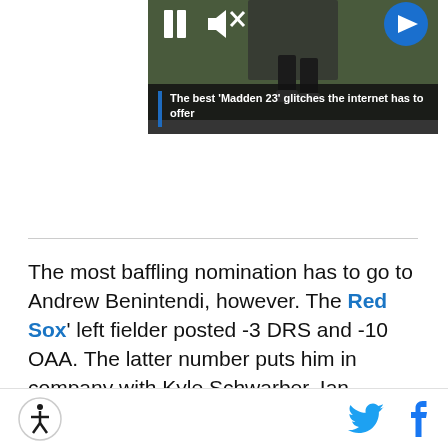[Figure (screenshot): Video thumbnail showing a football/sports video still with playback controls (pause button, mute icon) overlaid and a blue arrow button on the right]
The best 'Madden 23' glitches the internet has to offer
The most baffling nomination has to go to Andrew Benintendi, however. The Red Sox' left fielder posted -3 DRS and -10 OAA. The latter number puts him in company with Kyle Schwarber, Ian Desmond, and Eloy Jiménez. Statcast only tracked five outfielders in all of baseball who were worse in the field than Benintendi. This seems to be a reward for his game-saving catch in the ALCS last postseason because Benintendi didn't
Accessibility icon, Twitter icon, Facebook icon